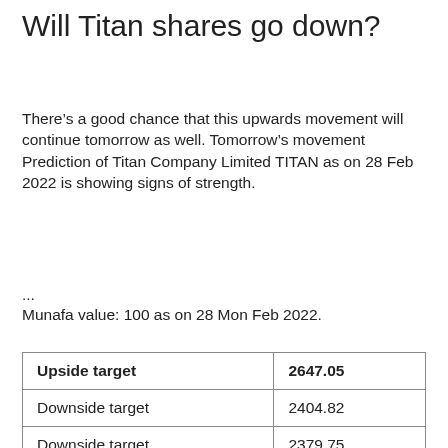Will Titan shares go down?
There’s a good chance that this upwards movement will continue tomorrow as well. Tomorrow’s movement Prediction of Titan Company Limited TITAN as on 28 Feb 2022 is showing signs of strength.
...
Munafa value: 100 as on 28 Mon Feb 2022.
| Upside target | 2647.05 |
| --- | --- |
| Downside target | 2404.82 |
| Downside target | 2379.75 |